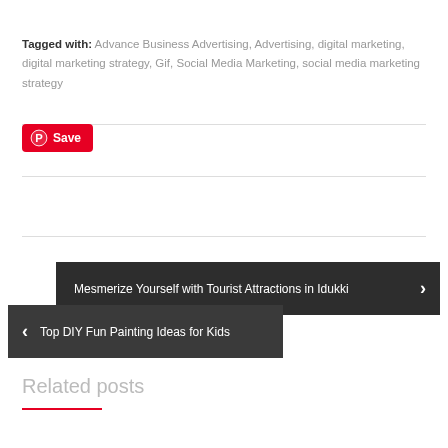Tagged with: Advance Business Advertising, Advertising, digital marketing, digital marketing strategy, Gif, Social Media Marketing, social media marketing strategy
[Figure (other): Pinterest Save button with Pinterest logo icon in red background]
Mesmerize Yourself with Tourist Attractions in Idukki
Top DIY Fun Painting Ideas for Kids
Related posts